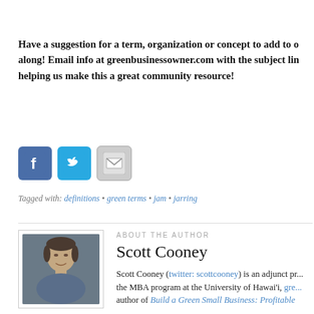Have a suggestion for a term, organization or concept to add to o... along! Email info at greenbusinessowner.com with the subject lin... helping us make this a great community resource!
[Figure (other): Three social sharing icons: Facebook (blue f logo), Twitter (blue bird logo), and Email (envelope icon)]
Tagged with: definitions • green terms • jam • jarring
ABOUT THE AUTHOR
[Figure (photo): Portrait photo of Scott Cooney, a man smiling, wearing a blue shirt, against a dark background]
Scott Cooney
Scott Cooney (twitter: scottcooney) is an adjunct pr... the MBA program at the University of Hawai'i, gre... author of Build a Green Small Business: Profitable...